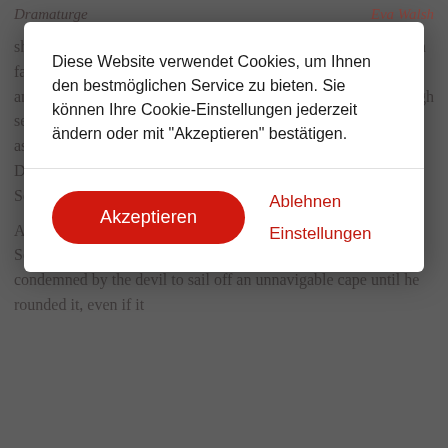Dramaturge   Eva Walsh
Diese Website verwendet Cookies, um Ihnen den bestmöglichen Service zu bieten. Sie können Ihre Cookie-Einstellungen jederzeit ändern oder mit "Akzeptieren" bestätigen.
shortly before reaching home. The helmsman left on watch soon falls asleep. Suddenly a large ship approaches and noisily lays anchor. Its captain is the Flying Dutchman, cursed to sail the high seas forever. Once every seven years, he is permitted to go ashore to find a woman whose true love will redeem him. The Dutchman encounters Daland and learns that he has a daughter, Senta. He asks Daland for his hospitality, and for Senta's hand.
As the women in Daland's house wait for the seafarers' return, Senta sings a ballad about the fate of the Flying Dutchman, condemned by the devil to sail off an unnavigable cape until he rounded it, even if it